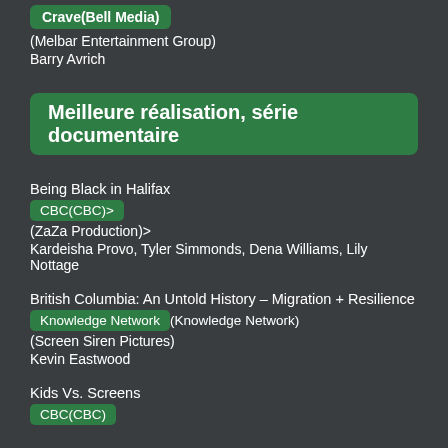Crave(Bell Media)
(Melbar Entertainment Group)
Barry Avrich
Meilleure réalisation, série documentaire
Being Black in Halifax
CBC(CBC)>
(ZaZa Production)>
Kardeisha Provo, Tyler Simmonds, Dena Williams, Lily Nottage
British Columbia: An Untold History – Migration + Resilience
Knowledge Network(Knowledge Network)
(Screen Siren Pictures)
Kevin Eastwood
Kids Vs. Screens
CBC(CBC)